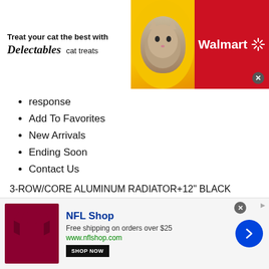[Figure (screenshot): Walmart advertisement banner featuring Delectables cat treats with a cat image, yellow heart shape, and red Walmart branding with spark logo]
response
Add To Favorites
New Arrivals
Ending Soon
Contact Us
3-ROW/CORE ALUMINUM RADIATOR+12" BLACK COOLING FAN 92-00 Honda CIVIC EG/INTEGRA
[Figure (screenshot): NFL Shop advertisement banner with maroon jersey image, NFL Shop text in blue, free shipping offer, www.nflshop.com URL, SHOP NOW button, and blue arrow button]